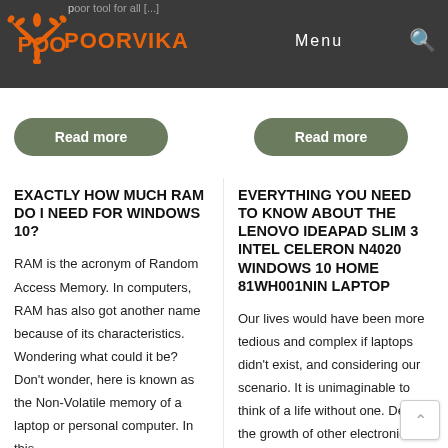POORVIKA — Menu
[Figure (logo): Poorvika logo: orange stylized plant/splash icon with text POORVIKA in orange]
Read more (button, left column, partial)
Read more (button, right column)
EXACTLY HOW MUCH RAM DO I NEED FOR WINDOWS 10?
RAM is the acronym of Random Access Memory. In computers, RAM has also got another name because of its characteristics. Wondering what could it be? Don't wonder, here is known as the Non-Volatile memory of a laptop or personal computer. In this
EVERYTHING YOU NEED TO KNOW ABOUT THE LENOVO IDEAPAD SLIM 3 INTEL CELERON N4020 WINDOWS 10 HOME 81WH001NIN LAPTOP
Our lives would have been more tedious and complex if laptops didn't exist, and considering our scenario. It is unimaginable to think of a life without one. Despite the growth of other electronic